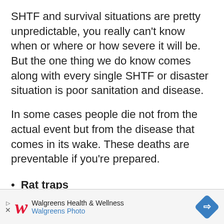SHTF and survival situations are pretty unpredictable, you really can't know when or where or how severe it will be. But the one thing we do know comes along with every single SHTF or disaster situation is poor sanitation and disease.
In some cases people die not from the actual event but from the disease that comes in its wake. These deaths are preventable if you're prepared.
Rat traps
Ant/Roach poison
Trash Bags
Insect Repellent
[Figure (other): Walgreens Health & Wellness advertisement banner with Walgreens logo, 'Walgreens Health & Wellness' and 'Walgreens Photo' text, and a blue directional sign diamond icon]